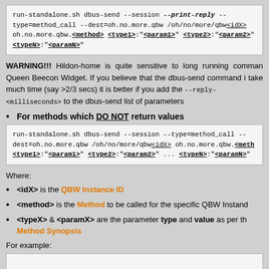run-standalone.sh dbus-send --session --print-reply --type=method_call --dest=oh.no.more.qbw /oh/no/more/qbw<idX> oh.no.more.qbw.<method> <type1>:"<param1>" <type2>:"<param2>" <typeN>:"<paramN>"
WARNING!!! Hildon-home is quite sensitive to long running commands run inside Queen Beecon Widget. If you believe that the dbus-send command is going to take much time (say >2/3 secs) it is better if you add the --reply-timeout=<milliseconds> to the dbus-send list of parameters
For methods which DO NOT return values
run-standalone.sh dbus-send --session --type=method_call --dest=oh.no.more.qbw /oh/no/more/qbw<idX> oh.no.more.qbw.<method> <type1>:"<param1>" <type2>:"<param2>" ... <typeN>:"<paramN>"
Where:
<idX> is the QBW Instance ID
<method> is the Method to be called for the specific QBW Instance
<typeX> & <paramX> are the parameter type and value as per the Method Synopsis
For example: